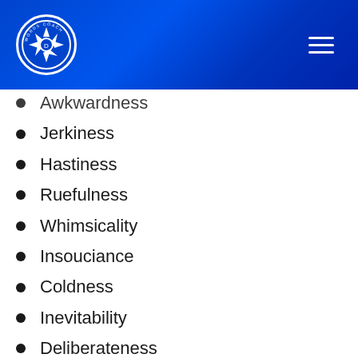[Figure (logo): Words Coach logo — circular camera aperture icon with text 'WORDS COACH' around the edge]
Awkwardness
Jerkiness
Hastiness
Ruefulness
Whimsicality
Insouciance
Coldness
Inevitability
Deliberateness
Jadedness